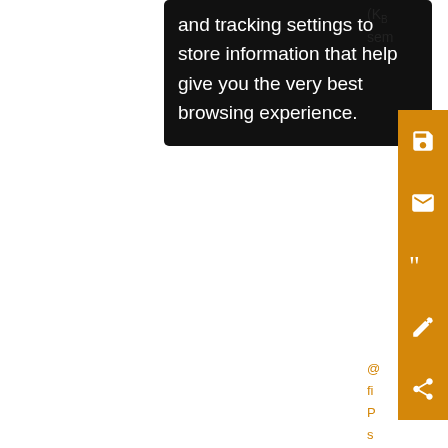and tracking settings to store information that help give you the very best browsing experience.
(Kᶜ sem
[Figure (screenshot): Orange sidebar with save, email, quote, annotation, and share icons on right side of page]
fi P s